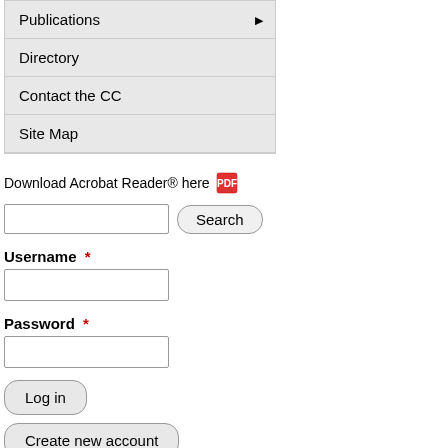Publications ▶
Directory
Contact the CC
Site Map
Download Acrobat Reader® here
Username *
Password *
Log in
Create new account
Request new password
Association of metformin, sulfonylurea and insulin use with brain